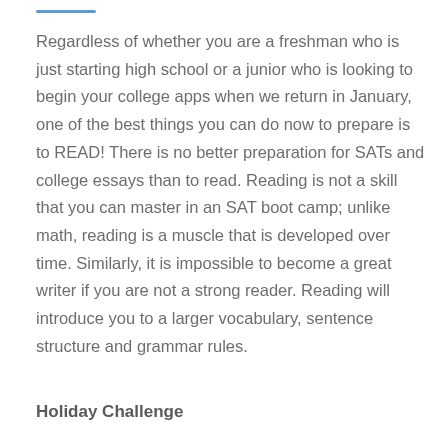Regardless of whether you are a freshman who is just starting high school or a junior who is looking to begin your college apps when we return in January, one of the best things you can do now to prepare is to READ! There is no better preparation for SATs and college essays than to read. Reading is not a skill that you can master in an SAT boot camp; unlike math, reading is a muscle that is developed over time. Similarly, it is impossible to become a great writer if you are not a strong reader. Reading will introduce you to a larger vocabulary, sentence structure and grammar rules.
Holiday Challenge